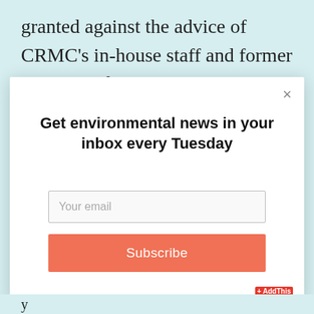granted against the advice of CRMC's in-house staff and former executive director Grover Fugate. CRMC's
[Figure (screenshot): Modal popup dialog with title 'Get environmental news in your inbox every Tuesday', a 'Your email' input field, and a coral-colored 'Subscribe' button. A close (×) button is in the top-right corner.]
y